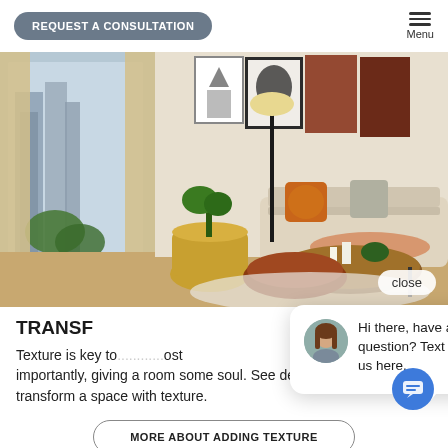REQUEST A CONSULTATION | Menu
[Figure (photo): Interior living room photo with warm bohemian decor: sofa with orange pillows, round wooden coffee table, leather pouf, wicker basket with plant, floor lamp, large window with city view, wall art with leaf patterns]
TRANSF
Texture is key to ... most importantly, giving a room some soul. See design ideas to transform a space with texture.
[Figure (screenshot): Live chat popup widget: avatar of a woman with brown hair, message says 'Hi there, have a question? Text us here.' with a blue chat FAB button and a 'close' button]
MORE ABOUT ADDING TEXTURE